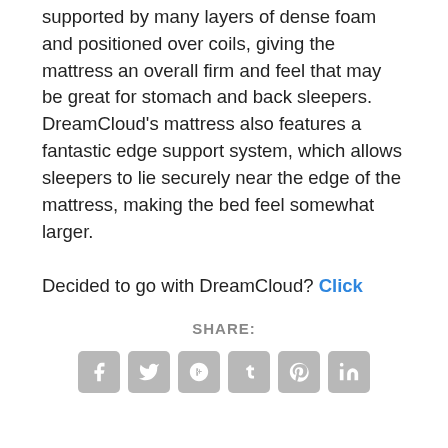supported by many layers of dense foam and positioned over coils, giving the mattress an overall firm and feel that may be great for stomach and back sleepers. DreamCloud's mattress also features a fantastic edge support system, which allows sleepers to lie securely near the edge of the mattress, making the bed feel somewhat larger.
Decided to go with DreamCloud? Click here to save $200 on your purchase!
SHARE: